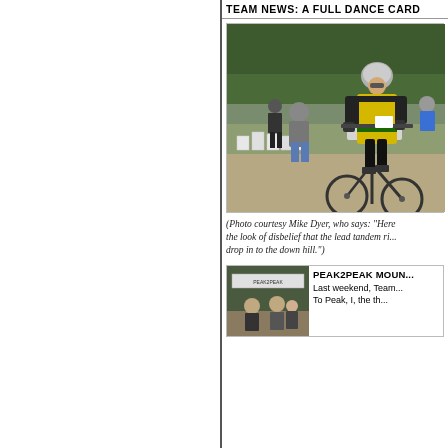TEAM NEWS: A FULL DANCE CARD
[Figure (photo): Cyclist in yellow and black jersey wearing helmet riding a bicycle on a dirt/gravel path at an outdoor event. Spectators and white chairs visible in background among trees.]
(Photo courtesy Mike Dyer, who says: "Here the look of disbelief that the lead tandem ri... drop in to the down hill.")
[Figure (photo): Small thumbnail photo showing people at an outdoor event with a banner in the background.]
PEAK2PEAK MOUN...
Last weekend, Team... To Peak, I, the th...